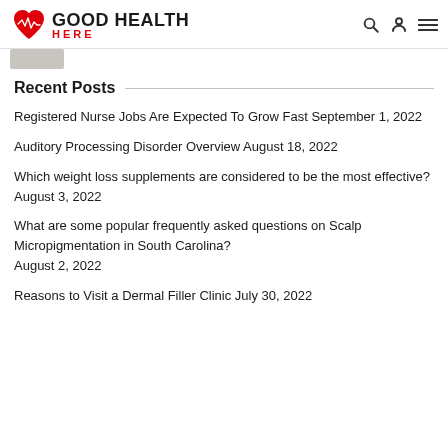GOOD HEALTH HERE
Recent Posts
Registered Nurse Jobs Are Expected To Grow Fast September 1, 2022
Auditory Processing Disorder Overview August 18, 2022
Which weight loss supplements are considered to be the most effective? August 3, 2022
What are some popular frequently asked questions on Scalp Micropigmentation in South Carolina? August 2, 2022
Reasons to Visit a Dermal Filler Clinic July 30, 2022